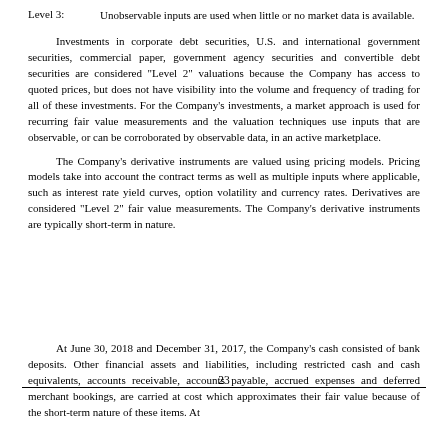Level 3: Unobservable inputs are used when little or no market data is available.
Investments in corporate debt securities, U.S. and international government securities, commercial paper, government agency securities and convertible debt securities are considered "Level 2" valuations because the Company has access to quoted prices, but does not have visibility into the volume and frequency of trading for all of these investments. For the Company's investments, a market approach is used for recurring fair value measurements and the valuation techniques use inputs that are observable, or can be corroborated by observable data, in an active marketplace.
The Company's derivative instruments are valued using pricing models. Pricing models take into account the contract terms as well as multiple inputs where applicable, such as interest rate yield curves, option volatility and currency rates. Derivatives are considered "Level 2" fair value measurements. The Company's derivative instruments are typically short-term in nature.
23
At June 30, 2018 and December 31, 2017, the Company's cash consisted of bank deposits. Other financial assets and liabilities, including restricted cash and cash equivalents, accounts receivable, accounts payable, accrued expenses and deferred merchant bookings, are carried at cost which approximates their fair value because of the short-term nature of these items. At